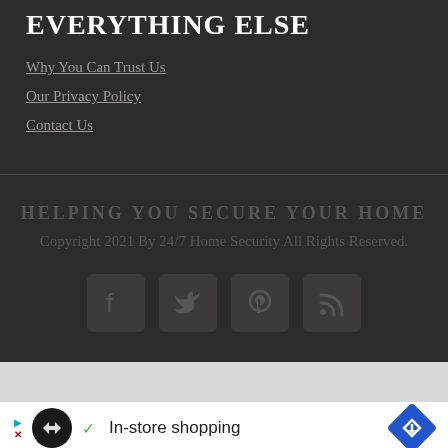EVERYTHING ELSE
Why You Can Trust Us
Our Privacy Policy
Contact Us
HELPING YOU SECURE YOUR HOME
Copyright 2021 By 24/7 Home Security All Rights Reserved.
[Figure (infographic): Social media icons: Facebook, Twitter, Pinterest, RSS feed]
[Figure (infographic): Advertisement banner with Loops logo, checkmark, In-store shopping text, and navigation icon]